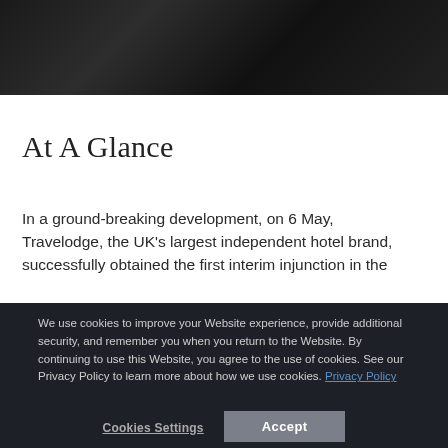[Figure (photo): Dark textured background header image, diagonal linear gradient from dark grey to near black]
At A Glance
In a ground-breaking development, on 6 May, Travelodge, the UK's largest independent hotel brand, successfully obtained the first interim injunction in the
We use cookies to improve your Website experience, provide additional security, and remember you when you return to the Website. By continuing to use this Website, you agree to the use of cookies. See our Privacy Policy to learn more about how we use cookies. Privacy Policy
Cookies Settings
Accept